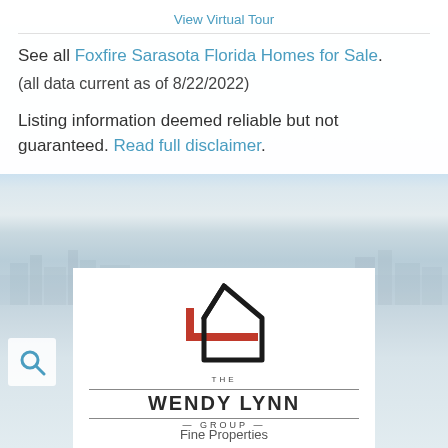View Virtual Tour
See all Foxfire Sarasota Florida Homes for Sale.
(all data current as of 8/22/2022)
Listing information deemed reliable but not guaranteed. Read full disclaimer.
[Figure (logo): The Wendy Lynn Group Fine Properties logo with house icon in black and red]
Fine Properties